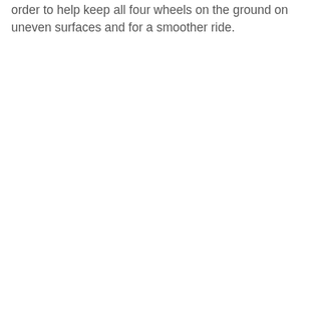order to help keep all four wheels on the ground on uneven surfaces and for a smoother ride.